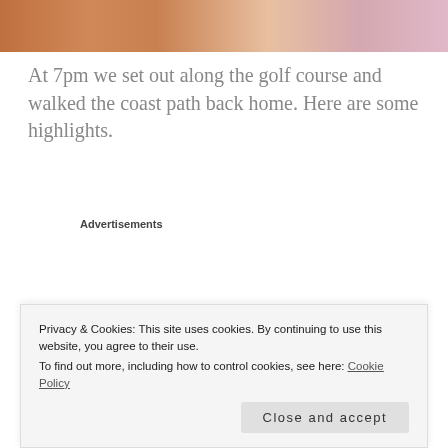[Figure (photo): Top portion of a photo showing orange/brown and pink/lilac fuzzy objects on a sandy/beach background]
At 7pm we set out along the golf course and walked the coast path back home. Here are some highlights.
Advertisements
[Figure (screenshot): Advertisement banner with dark navy background showing 'Opinions.' text and WordPress and another logo]
[Figure (photo): Coastal landscape photo showing misty hills and sea]
Privacy & Cookies: This site uses cookies. By continuing to use this website, you agree to their use.
To find out more, including how to control cookies, see here: Cookie Policy
Close and accept